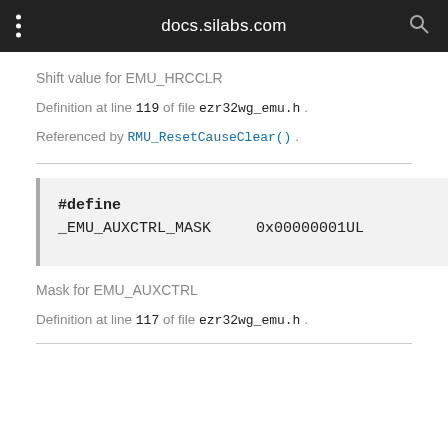docs.silabs.com
Shift value for EMU_HRCCLR
Definition at line 119 of file ezr32wg_emu.h .
Referenced by RMU_ResetCauseClear() .
#define _EMU_AUXCTRL_MASK   0x00000001UL
Mask for EMU_AUXCTRL
Definition at line 117 of file ezr32wg_emu.h .